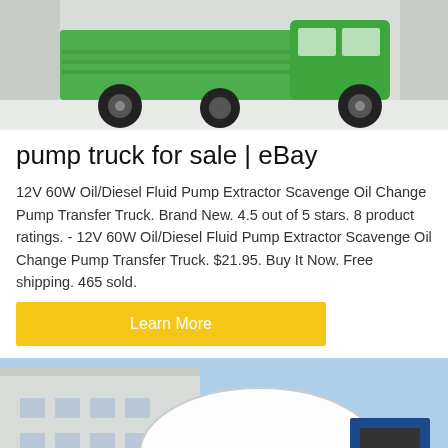[Figure (photo): Green dump truck / heavy machinery vehicle on a light background, top portion visible]
pump truck for sale | eBay
12V 60W Oil/Diesel Fluid Pump Extractor Scavenge Oil Change Pump Transfer Truck. Brand New. 4.5 out of 5 stars. 8 product ratings. - 12V 60W Oil/Diesel Fluid Pump Extractor Scavenge Oil Change Pump Transfer Truck. $21.95. Buy It Now. Free shipping. 465 sold.
Learn More
[Figure (photo): Blue and white concrete mixer / pump truck parked outside a building with blue sky background]